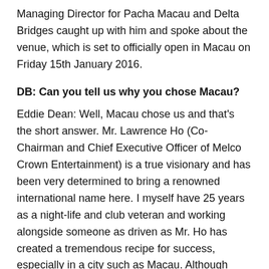Managing Director for Pacha Macau and Delta Bridges caught up with him and spoke about the venue, which is set to officially open in Macau on Friday 15th January 2016.
DB: Can you tell us why you chose Macau?
Eddie Dean: Well, Macau chose us and that's the short answer. Mr. Lawrence Ho (Co-Chairman and Chief Executive Officer of Melco Crown Entertainment) is a true visionary and has been very determined to bring a renowned international name here. I myself have 25 years as a night-life and club veteran and working alongside someone as driven as Mr. Ho has created a tremendous recipe for success, especially in a city such as Macau. Although there have been difficulties with the customs and lifestyle differences in China, we are learning every day and have been patient, but these things take time and it is important to get it right and not rush. We have arguably come a long way in such a short space of time. Our most recent Pacha Macau event was a great